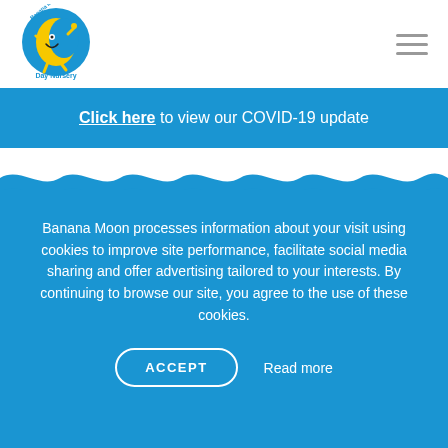[Figure (logo): Banana Moon Day Nursery logo — circular blue badge with yellow moon character and text]
Click here to view our COVID-19 update
[Figure (illustration): Blue and white wavy divider strip]
Banana Moon processes information about your visit using cookies to improve site performance, facilitate social media sharing and offer advertising tailored to your interests. By continuing to browse our site, you agree to the use of these cookies.
ACCEPT   Read more